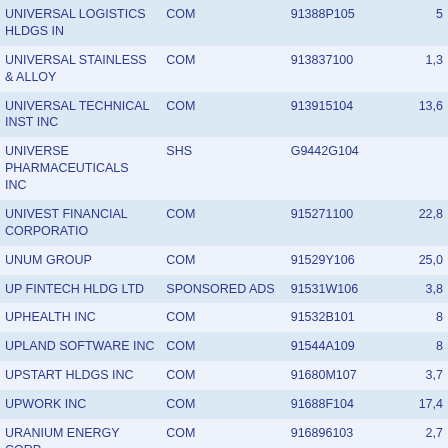| Name | Security Type | CUSIP | Value |
| --- | --- | --- | --- |
| UNIVERSAL LOGISTICS HLDGS IN | COM | 91388P105 | 5 |
| UNIVERSAL STAINLESS & ALLOY | COM | 913837100 | 1,3 |
| UNIVERSAL TECHNICAL INST INC | COM | 913915104 | 13,6 |
| UNIVERSE PHARMACEUTICALS INC | SHS | G9442G104 |  |
| UNIVEST FINANCIAL CORPORATIO | COM | 915271100 | 22,8 |
| UNUM GROUP | COM | 91529Y106 | 25,0 |
| UP FINTECH HLDG LTD | SPONSORED ADS | 91531W106 | 3,8 |
| UPHEALTH INC | COM | 91532B101 | 8 |
| UPLAND SOFTWARE INC | COM | 91544A109 | 8 |
| UPSTART HLDGS INC | COM | 91680M107 | 3,7 |
| UPWORK INC | COM | 91688F104 | 17,4 |
| URANIUM ENERGY CORP | COM | 916896103 | 2,7 |